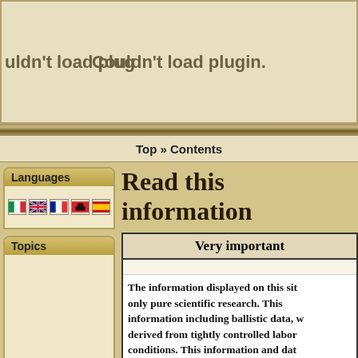[Figure (screenshot): Browser plugin error area showing 'uldn't load plug' on left and 'Couldn't load plugin.' in center on a beige background]
Top » Contents
Languages
[Figure (illustration): Four national flags: Italian (green/white/red), British (Union Jack), French (blue/white/red), Albanian/other (red/black), Spanish (red/yellow/red)]
Topics
Read this information
Very important
The information displayed on this site is only pure scientific research. This information including ballistic data, were derived from tightly controlled laboratory conditions. This information and data may vary considerably depending on many factors, including the components used, component assembly, the type of firearm used, reloading techniques, safety